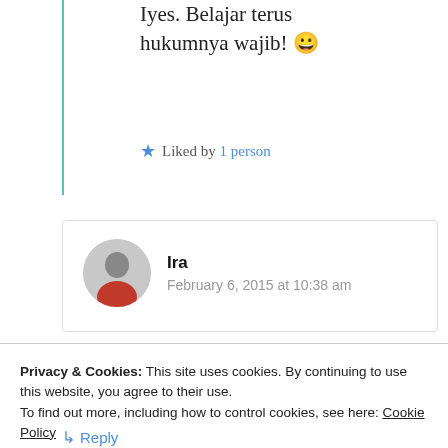Iyes. Belajar terus hukumnya wajib! 😀
Liked by 1 person
Ira
February 6, 2015 at 10:38 am
Privacy & Cookies: This site uses cookies. By continuing to use this website, you agree to their use.
To find out more, including how to control cookies, see here: Cookie Policy
Close and accept
↳ Reply